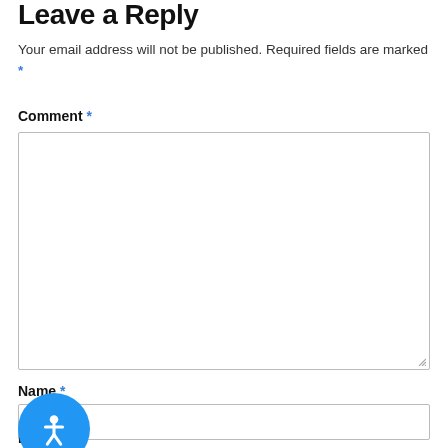Leave a Reply
Your email address will not be published. Required fields are marked *
Comment *
[Figure (other): Large textarea input box for comment field with resize handle at bottom right]
Name *
[Figure (other): Text input box for Name field]
[Figure (other): Blue circular accessibility button with white person/wheelchair icon]
Email *